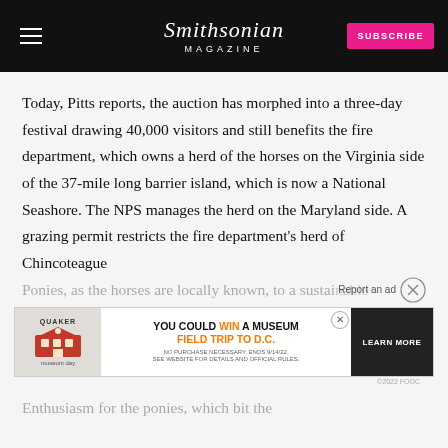Smithsonian MAGAZINE
Today, Pitts reports, the auction has morphed into a three-day festival drawing 40,000 visitors and still benefits the fire department, which owns a herd of the horses on the Virginia side of the 37-mile long barrier island, which is now a National Seashore. The NPS manages the herd on the Maryland side. A grazing permit restricts the fire department's herd of Chincoteague
Ponies, as the horses are locally known, to a sustainable
[Figure (screenshot): Advertisement banner: Quaker Museum Day promotion — YOU COULD WIN A MUSEUM FIELD TRIP TO D.C. with LEARN MORE button]
Enthusiasm for the ponies, which bit the